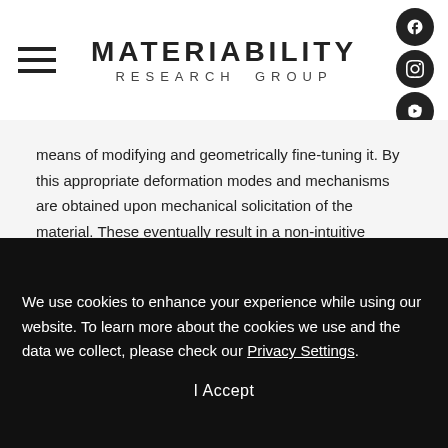MATERIABILITY RESEARCH GROUP
means of modifying and geometrically fine-tuning it. By this appropriate deformation modes and mechanisms are obtained upon mechanical solicitation of the material. These eventually result in a non-intuitive deformation behavior showing
We use cookies to enhance your experience while using our website. To learn more about the cookies we use and the data we collect, please check our Privacy Settings.
I Accept